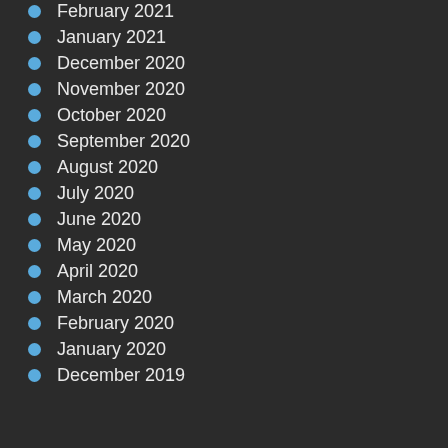February 2021
January 2021
December 2020
November 2020
October 2020
September 2020
August 2020
July 2020
June 2020
May 2020
April 2020
March 2020
February 2020
January 2020
December 2019